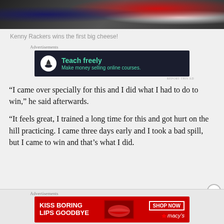[Figure (photo): News photo showing people at an outdoor event, with an American flag visible on clothing]
Kenny Rackers wins the first big cheese!
[Figure (other): Advertisement: Teach freely - Make money selling online courses.]
“I came over specially for this and I did what I had to do to win,” he said afterwards.
“It feels great, I trained a long time for this and got hurt on the hill practicing. I came three days early and I took a bad spill, but I came to win and that’s what I did.
[Figure (other): Advertisement: KISS BORING LIPS GOODBYE - SHOP NOW - Macy's]